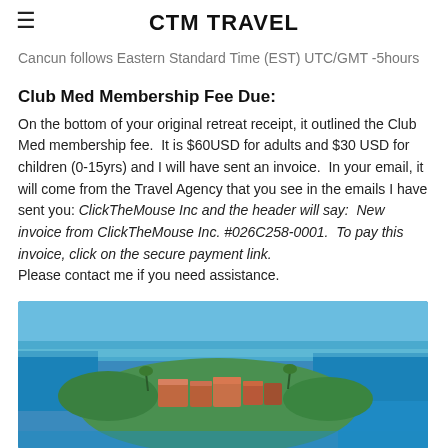CTM TRAVEL
Cancun follows Eastern Standard Time (EST) UTC/GMT -5hours
Club Med Membership Fee Due:
On the bottom of your original retreat receipt, it outlined the Club Med membership fee.  It is $60USD for adults and $30 USD for children (0-15yrs) and I will have sent an invoice.  In your email, it will come from the Travel Agency that you see in the emails I have sent you: ClickTheMouse Inc and the header will say:  New invoice from ClickTheMouse Inc. #026C258-0001.  To pay this invoice, click on the secure payment link.
Please contact me if you need assistance.
[Figure (photo): Aerial photograph of a resort island or peninsula surrounded by turquoise water, with red-roofed buildings and tropical vegetation visible.]